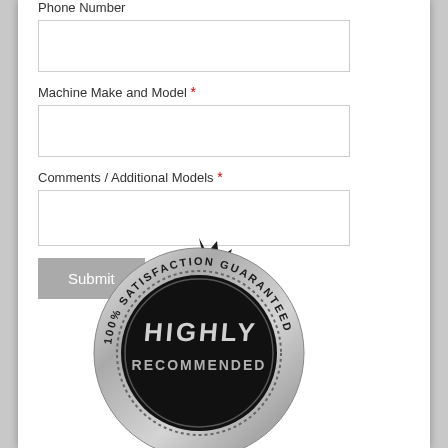Phone Number
Machine Make and Model *
Comments / Additional Models *
Submit
[Figure (illustration): A black and silver satisfaction guarantee badge/seal with text reading '100% SATISFACTION GUARANTEED' around the top arc and 'HIGHLY RECOMMENDED' in the center, with a metallic silver border and black background, featuring a gear/starburst outer edge]